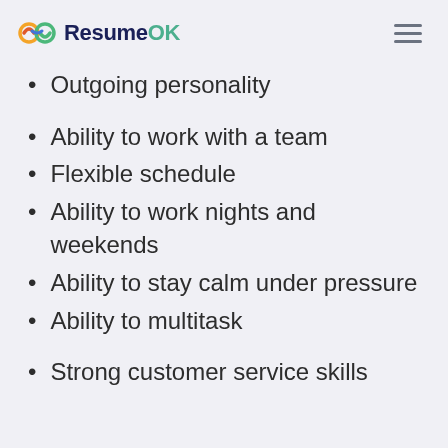ResumeOK
Outgoing personality
Ability to work with a team
Flexible schedule
Ability to work nights and weekends
Ability to stay calm under pressure
Ability to multitask
Strong customer service skills